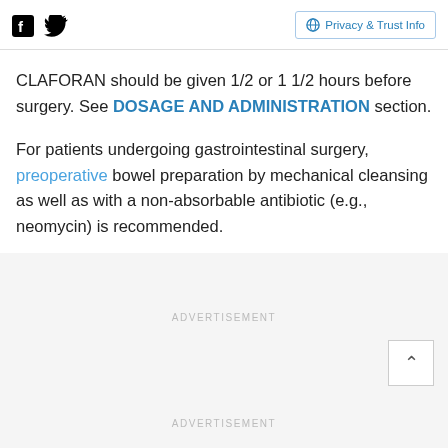Social icons (Facebook, Twitter) and Privacy & Trust Info button
CLAFORAN should be given 1/2 or 1 1/2 hours before surgery. See DOSAGE AND ADMINISTRATION section.
For patients undergoing gastrointestinal surgery, preoperative bowel preparation by mechanical cleansing as well as with a non-absorbable antibiotic (e.g., neomycin) is recommended.
ADVERTISEMENT
ADVERTISEMENT